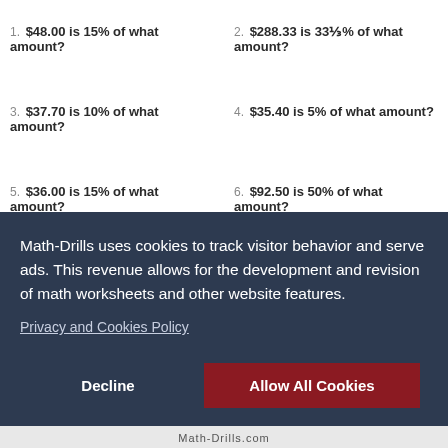1. $48.00 is 15% of what amount?
2. $288.33 is 33⅓% of what amount?
3. $37.70 is 10% of what amount?
4. $35.40 is 5% of what amount?
5. $36.00 is 15% of what amount?
6. $92.50 is 50% of what amount?
Math-Drills uses cookies to track visitor behavior and serve ads. This revenue allows for the development and revision of math worksheets and other website features.
Privacy and Cookies Policy
Decline
Allow All Cookies
Math-Drills.com